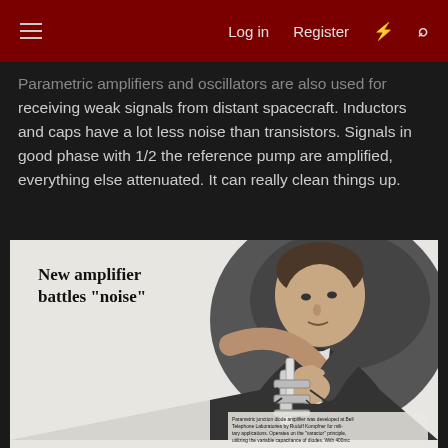Log in  Register
Parametric amplifiers and oscillators are also used for receiving weak signals from distant spacecraft. Inductors and caps have a lot less noise than transistors. Signals in good phase with 1/2 the reference pump are amplified, everything else attenuated. It can really clean things up.
[Figure (photo): Vintage black-and-white advertisement photo showing a man in a suit examining or working on a small electronic device/amplifier. Ad headline reads 'New amplifier battles "noise"'. Caption text at bottom right describes a parametric junction diode amplifier developed at Bell Telephone Laboratories by Rudolf Kompfner for military applications, operating on the 'varactor' principle, utilizing the variable capacitance of diodes. With 400mc signals, the gain is 10 db over the 300mc band.]